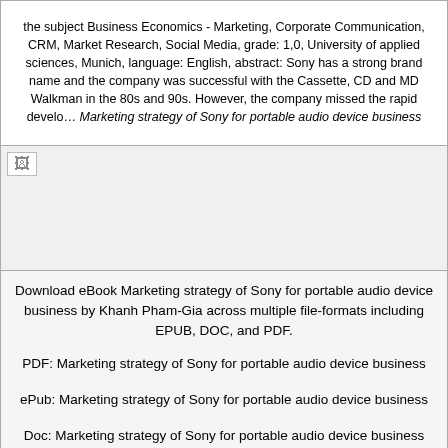the subject Business Economics - Marketing, Corporate Communication, CRM, Market Research, Social Media, grade: 1,0, University of applied sciences, Munich, language: English, abstract: Sony has a strong brand name and the company was successful with the Cassette, CD and MD Walkman in the 80s and 90s. However, the company missed the rapid develo… Marketing strategy of Sony for portable audio device business
[Figure (photo): Broken image placeholder in a grey box]
Download eBook Marketing strategy of Sony for portable audio device business by Khanh Pham-Gia across multiple file-formats including EPUB, DOC, and PDF.
PDF: Marketing strategy of Sony for portable audio device business
ePub: Marketing strategy of Sony for portable audio device business
Doc: Marketing strategy of Sony for portable audio device business